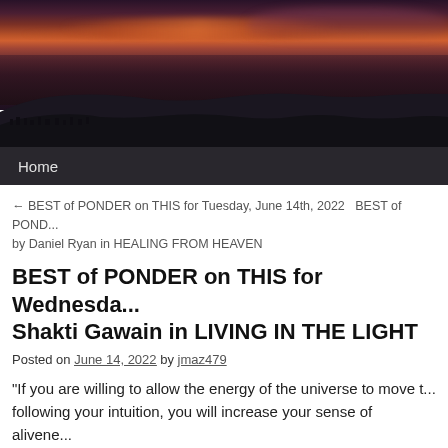[Figure (photo): A panoramic sunset/dusk photograph of a coastal hillside town with dramatic orange-red clouds over a dark sea and hills in the foreground. A dark navigation bar with 'Home' link sits at the bottom of the image.]
← BEST of PONDER on THIS for Tuesday, June 14th, 2022   BEST of POND... by Daniel Ryan in HEALING FROM HEAVEN
BEST of PONDER on THIS for Wednesday... Shakti Gawain in LIVING IN THE LIGHT
Posted on June 14, 2022 by jmaz479
“If you are willing to allow the energy of the universe to move t... following your intuition, you will increase your sense of alivene... with increasing health, beauty, and vitality. Every time you don'... your inner truth, you decrease your aliveness and your body wil...